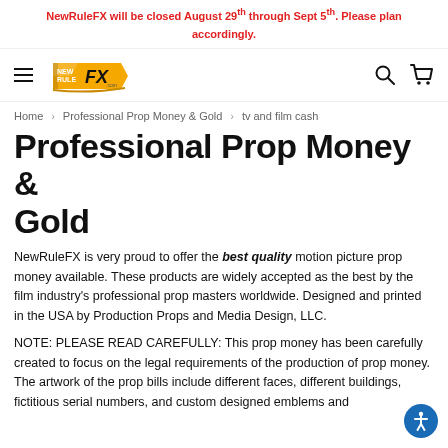NewRuleFX will be closed August 29th through Sept 5th. Please plan accordingly.
[Figure (logo): NewRuleFX logo with hamburger menu, search and cart icons]
Home > Professional Prop Money & Gold > tv and film cash
Professional Prop Money & Gold
NewRuleFX is very proud to offer the best quality motion picture prop money available. These products are widely accepted as the best by the film industry's professional prop masters worldwide. Designed and printed in the USA by Production Props and Media Design, LLC.
NOTE: PLEASE READ CAREFULLY: This prop money has been carefully created to focus on the legal requirements of the production of prop money. The artwork of the prop bills include different faces, different buildings, fictitious serial numbers, and custom designed emblems and